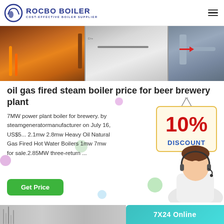ROCBO BOILER - COST-EFFECTIVE BOILER SUPPLIER
[Figure (photo): Industrial boiler facility showing orange pipework on left, stainless steel boiler tank in center, and industrial piping on right]
oil gas fired steam boiler price for beer brewery plant
7MW power plant boiler for brewery. by steamgeneratormanufacturer on July 16, US$5... 2.1mw 2.8mw Heavy Oil Natural Gas Fired Hot Water Boilers 1mw 7mw for sale.2.85MW three-return ...
[Figure (infographic): 10% DISCOUNT badge with hanger and customer service agent photo]
Get Price
[Figure (photo): Bottom strip showing boiler equipment on left and 7X24 Online text on teal background on right]